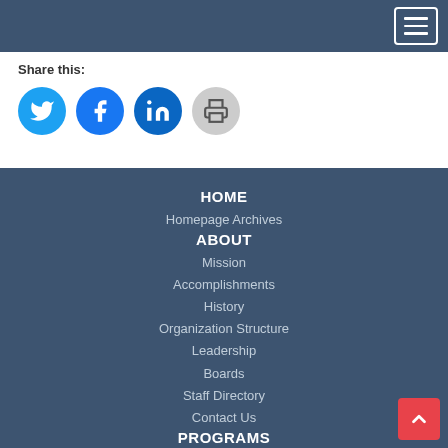Navigation menu header bar
Share this:
[Figure (illustration): Four social sharing icon buttons: Twitter (blue circle), Facebook (blue circle), LinkedIn (dark blue circle), Print (gray circle)]
HOME
Homepage Archives
ABOUT
Mission
Accomplishments
History
Organization Structure
Leadership
Boards
Staff Directory
Contact Us
PROGRAMS
Overview